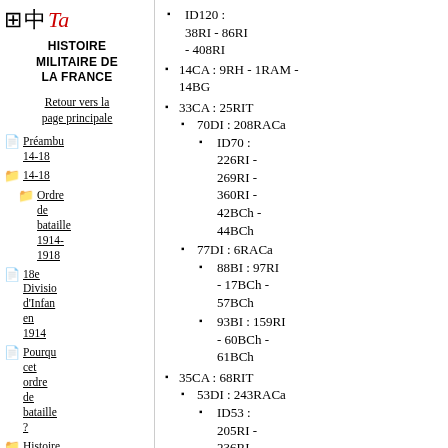Histoire militaire de la France
Retour vers la page principale
Préambu 14-18
Ordre de bataille 1914-1918
18e Division d'Infanterie en 1914
Pourquoi cet ordre de bataille ?
Histoire des...
ID120 : 38RI - 86RI - 408RI
14CA : 9RH - 1RAM - 14BG
33CA : 25RIT
70DI : 208RACa
ID70 : 226RI - 269RI - 360RI - 42BCh - 44BCh
77DI : 6RACa
88BI : 97RI - 17BCh - 57BCh
93BI : 159RI - 60BCh - 61BCh
35CA : 68RIT
53DI : 243RACa
ID53 : 205RI - 236RI - 319RI
61DI : 251RACa - 1BChT - 2BChT